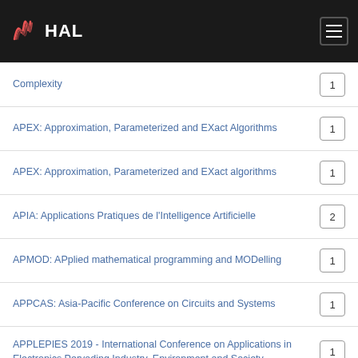HAL
Complexity — 1
APEX: Approximation, Parameterized and EXact Algorithms — 1
APEX: Approximation, Parameterized and EXact algorithms — 1
APIA: Applications Pratiques de l'Intelligence Artificielle — 2
APMOD: APplied mathematical programming and MODelling — 1
APPCAS: Asia-Pacific Conference on Circuits and Systems — 1
APPLEPIES 2019 - International Conference on Applications in Electronics Pervading Industry, Environment and Society — 1
APSEC 2011 — 1
APTA Conference and Exposition 2013 — 1
AQTR'08: Automation, Quality and Testing, Robotics — 1
AQTR: Automation, Quality and Testing, Robotics — (partial)